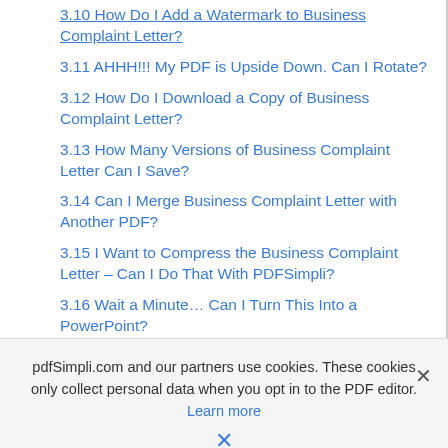3.10 How Do I Add a Watermark to Business Complaint Letter?
3.11 AHHH!!! My PDF is Upside Down. Can I Rotate?
3.12 How Do I Download a Copy of Business Complaint Letter?
3.13 How Many Versions of Business Complaint Letter Can I Save?
3.14 Can I Merge Business Complaint Letter with Another PDF?
3.15 I Want to Compress the Business Complaint Letter – Can I Do That With PDFSimpli?
3.16 Wait a Minute… Can I Turn This Into a PowerPoint?
3.17 How Much Does This Amazing PDFSimpli Cost?
3.18 You Telling Me This is All Free?
3.19 Who Do I Contact For Technical Support?
pdfSimpli.com and our partners use cookies. These cookies only collect personal data when you opt in to the PDF editor. Learn more